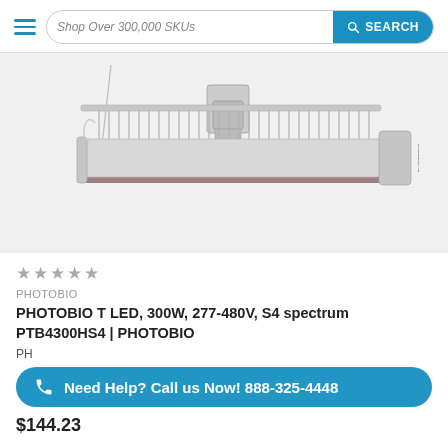Shop Over 300,000 SKUs | SEARCH
[Figure (photo): PHOTOBIO T LED grow light fixture suspended from ceiling mount, elongated bar shape with white/gray housing and ventilation fins, photographed at an angle against white background]
★★★★★
PHOTOBIO
PHOTOBIO T LED, 300W, 277-480V, S4 spectrum PTB4300HS4 | PHOTOBIO
PHO
Need Help? Call us Now! 888-325-4448
$144.23